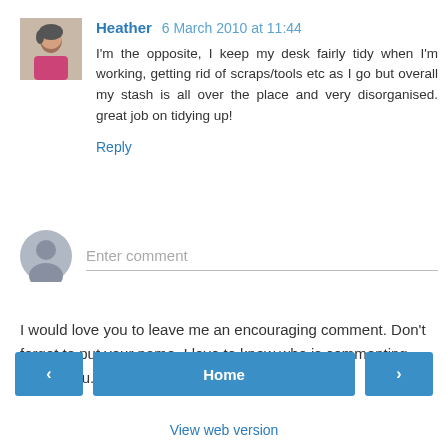[Figure (photo): User avatar photo of Heather, a woman in a pink top]
Heather 6 March 2010 at 11:44
I'm the opposite, I keep my desk fairly tidy when I'm working, getting rid of scraps/tools etc as I go but overall my stash is all over the place and very disorganised. great job on tidying up!
Reply
[Figure (illustration): Default grey user avatar silhouette icon]
Enter comment
I would love you to leave me an encouraging comment. Don't forget to put your name. I love to know who is commenting. Thank you.
< Home >
View web version